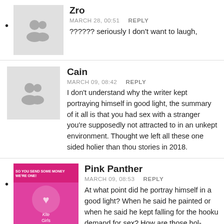Zro
MARCH 28, 00:51  REPLY
?????? seriously I don't want to laugh,
Cain
MARCH 09, 08:42  REPLY
I don't understand why the writer kept portraying himself in good light, the summary of it all is that you had sex with a stranger you're supposedly not attracted to in an unkept environment. Thought we left all these one sided holier than thou stories in 2018.
Pink Panther
MARCH 09, 08:53  REPLY
At what point did he portray himself in a good light? When he said he painted or when he said he kept falling for the hooku demand for sex? How are those hol- thou? He told a story which is that he had sex with someone he didn't like in an unkempt environment. He's not summarising. He's